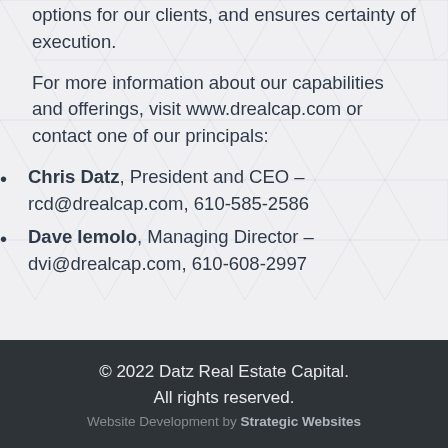options for our clients, and ensures certainty of execution.
For more information about our capabilities and offerings, visit www.drealcap.com or contact one of our principals:
Chris Datz, President and CEO – rcd@drealcap.com, 610-585-2586
Dave Iemolo, Managing Director – dvi@drealcap.com, 610-608-2997
© 2022 Datz Real Estate Capital. All rights reserved. Website Development by Strategic Websites